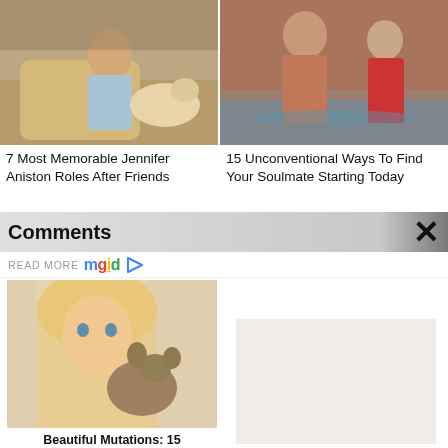[Figure (photo): Woman sitting on couch with a yellow Labrador dog]
7 Most Memorable Jennifer Aniston Roles After Friends
[Figure (photo): Fit man and woman standing in water, man shirtless, woman in red bikini]
15 Unconventional Ways To Find Your Soulmate Starting Today
Comments
READ MORE mgid ▷
[Figure (photo): Blonde woman with a puppy dog]
Beautiful Mutations: 15 Staggering Photos Of Heterochromia
[Figure (photo): Empty/placeholder image area]
JLo At 52 Looks Twice As Young, Thanks To These Little Secrets